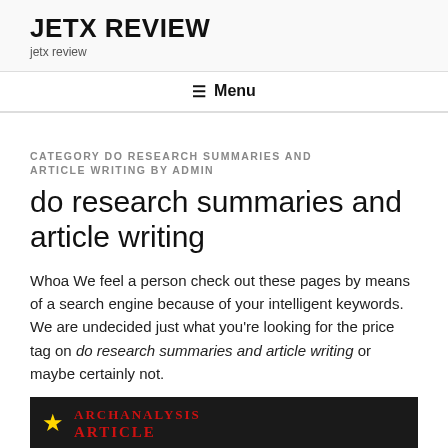JETX REVIEW
jetx review
☰ Menu
CATEGORY DO RESEARCH SUMMARIES AND ARTICLE WRITING BY ADMIN
do research summaries and article writing
Whoa We feel a person check out these pages by means of a search engine because of your intelligent keywords. We are undecided just what you're looking for the price tag on do research summaries and article writing or maybe certainly not.
[Figure (photo): Dark background banner image with red bold text reading partially visible 'ARCHANALYSIS' and 'ARTICLE ANALYSIS' with a yellow star icon on the left.]